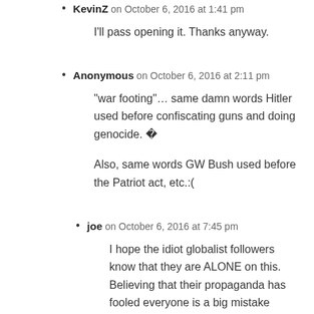KevinZ on October 6, 2016 at 1:41 pm
I'll pass opening it. Thanks anyway.
Anonymous on October 6, 2016 at 2:11 pm
“war footing”… same damn words Hitler used before confiscating guns and doing genocide. �
Also, same words GW Bush used before the Patriot act, etc.:(
joe on October 6, 2016 at 7:45 pm
I hope the idiot globalist followers know that they are ALONE on this. Believing that their propaganda has fooled everyone is a big mistake They’ll soon face the reality...